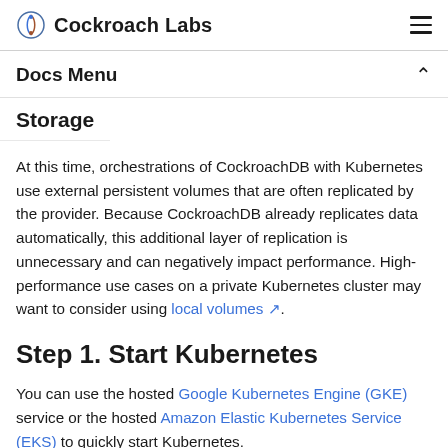Cockroach Labs
Docs Menu
Storage
At this time, orchestrations of CockroachDB with Kubernetes use external persistent volumes that are often replicated by the provider. Because CockroachDB already replicates data automatically, this additional layer of replication is unnecessary and can negatively impact performance. High-performance use cases on a private Kubernetes cluster may want to consider using local volumes.
Step 1. Start Kubernetes
You can use the hosted Google Kubernetes Engine (GKE) service or the hosted Amazon Elastic Kubernetes Service (EKS) to quickly start Kubernetes.